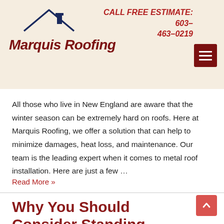[Figure (logo): Marquis Roofing logo with dark blue roof/chimney icon above the italic bold dark red text 'Marquis Roofing']
CALL FREE ESTIMATE: 603-463-0219
All those who live in New England are aware that the winter season can be extremely hard on roofs. Here at Marquis Roofing, we offer a solution that can help to minimize damages, heat loss, and maintenance. Our team is the leading expert when it comes to metal roof installation. Here are just a few …
Read More »
Why You Should Consider Standing Seam Metal Roof Installation